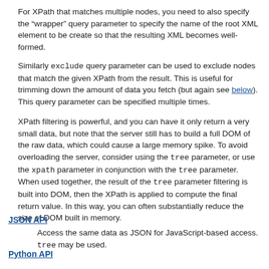For XPath that matches multiple nodes, you need to also specify the "wrapper" query parameter to specify the name of the root XML element to be create so that the resulting XML becomes well-formed.
Similarly exclude query parameter can be used to exclude nodes that match the given XPath from the result. This is useful for trimming down the amount of data you fetch (but again see below). This query parameter can be specified multiple times.
XPath filtering is powerful, and you can have it only return a very small data, but note that the server still has to build a full DOM of the raw data, which could cause a large memory spike. To avoid overloading the server, consider using the tree parameter, or use the xpath parameter in conjunction with the tree parameter. When used together, the result of the tree parameter filtering is built into DOM, then the XPath is applied to compute the final return value. In this way, you can often substantially reduce the size of DOM built in memory.
JSON API
Access the same data as JSON for JavaScript-based access. tree may be used.
Python API
Access the same data as Python for Python clients. Triggers...